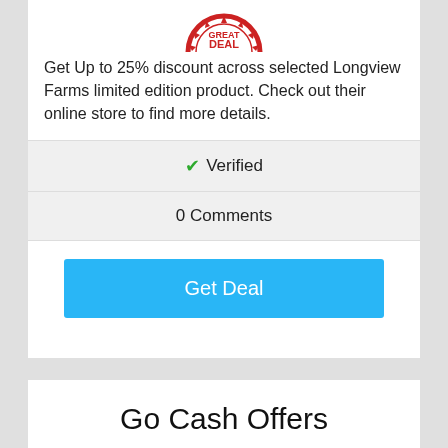[Figure (illustration): Partial red 'Great Deal' stamp badge at top of page, cropped]
Get Up to 25% discount across selected Longview Farms limited edition product. Check out their online store to find more details.
✔ Verified
0 Comments
Get Deal
Go Cash Offers
[Figure (illustration): Partial red 'Great Deal' stamp badge at bottom of page, partially cropped]